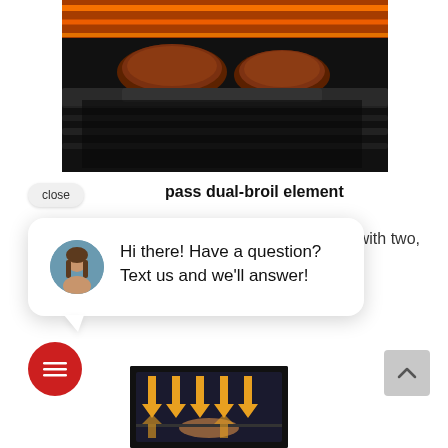[Figure (photo): Close-up photo of meat cooking on a dark cast-iron grill pan with glowing orange heating elements visible in the background]
pass dual-broil element
[Figure (screenshot): Chat widget popup with a woman avatar and text: Hi there! Have a question? Text us and we'll answer!]
with two,
[Figure (photo): Oven interior showing yellow/orange downward arrows indicating broil heat flow, with food on rack]
[Figure (other): Red circular chat icon button with message lines icon]
[Figure (other): Gray scroll-to-top button with upward chevron arrow]